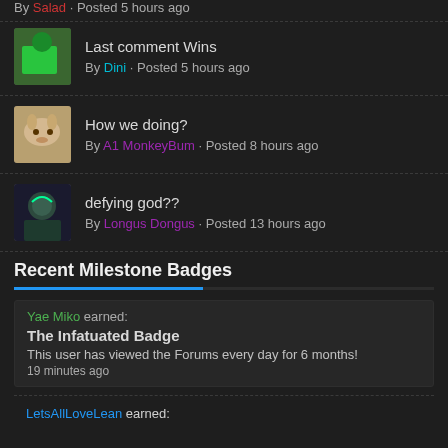By Salad · Posted 5 hours ago
Last comment Wins
By Dini · Posted 5 hours ago
How we doing?
By A1 MonkeyBum · Posted 8 hours ago
defying god??
By Longus Dongus · Posted 13 hours ago
Recent Milestone Badges
Yae Miko earned:
The Infatuated Badge
This user has viewed the Forums every day for 6 months!
19 minutes ago
LetsAllLoveLean earned: